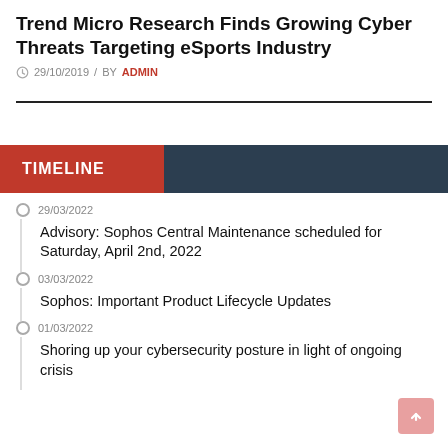Trend Micro Research Finds Growing Cyber Threats Targeting eSports Industry
29/10/2019 / BY ADMIN
TIMELINE
29/03/2022 — Advisory: Sophos Central Maintenance scheduled for Saturday, April 2nd, 2022
03/03/2022 — Sophos: Important Product Lifecycle Updates
01/03/2022 — Shoring up your cybersecurity posture in light of ongoing crisis